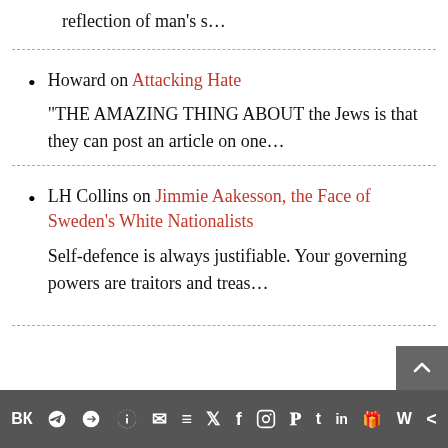reflection of man's s…
Howard on Attacking Hate
"THE AMAZING THING ABOUT the Jews is that they can post an article on one…
LH Collins on Jimmie Aakesson, the Face of Sweden's White Nationalists
Self-defence is always justifiable. Your governing powers are traitors and treas…
Social sharing icons: VK, Telegram, Reddit, WordPress, WhatsApp, Email, Buffer, Twitter, Facebook, Instagram, Pinterest, Tumblr, LinkedIn, Gift, Wattpad, Share